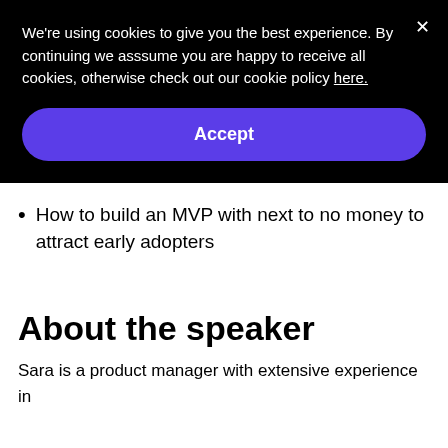We're using cookies to give you the best experience. By continuing we asssume you are happy to receive all cookies, otherwise check out our cookie policy here.
Accept
How to build an MVP with next to no money to attract early adopters
About the speaker
Sara is a product manager with extensive experience in